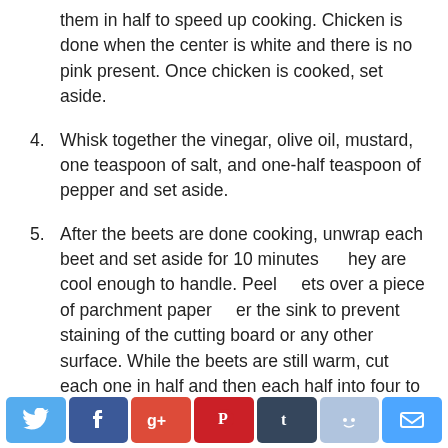them in half to speed up cooking. Chicken is done when the center is white and there is no pink present. Once chicken is cooked, set aside.
4. Whisk together the vinegar, olive oil, mustard, one teaspoon of salt, and one-half teaspoon of pepper and set aside.
5. After the beets are done cooking, unwrap each beet and set aside for 10 minutes they are cool enough to handle. Peel eets over a piece of parchment paper r the sink to prevent staining of the cutting board or any other surface. While the beets are still warm, cut each one in half and then each half into four to six wedges and place them in a large mixing bowl. As you're cutting the beets, toss them with half of the vinaigrette, one-half teaspoon of salt, and a sprinkle of pepper
[Figure (other): Live Help chat button overlay - red rounded rectangle with LIVE HELP text and chat bubble icon]
[Figure (other): Social sharing bar with Twitter, Facebook, Google+, Pinterest, Tumblr, Reddit, and Email buttons]